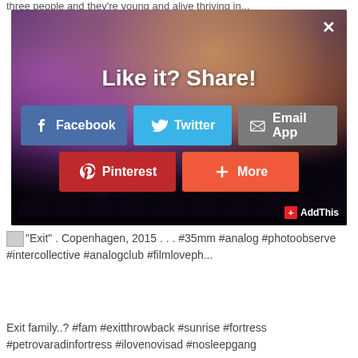three people and they're young and alive thriving in...
[Figure (screenshot): A social sharing modal dialog overlaid on a concert photo background. The modal shows 'Like it? Share!' text and five sharing buttons: Facebook (blue), Twitter (light blue), Email App (grey), Pinterest (red), and More (orange-red). A close X button is in the top right. AddThis branding in the bottom right corner.]
"Exit" . Copenhagen, 2015 . . . #35mm #analog #photoobserve #intercollective #analogclub #filmloveph...
Exit family..? #fam #exitthrowback #sunrise #fortress #petrovaradinfortress #ilovenovisad #nosleepgang